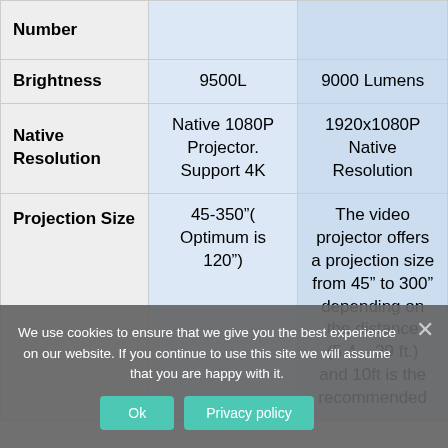|  |  |  |
| --- | --- | --- |
| Number |  |  |
| Brightness | 9500L | 9000 Lumens |
| Native Resolution | Native 1080P Projector. Support 4K | 1920x1080P Native Resolution |
| Projection Size | 45-350"( Optimum is 120") | The video projector offers a projection size from 45" to 300" depending on the distance (5.4 – 29 ft.) and 10ft is the recommended |
We use cookies to ensure that we give you the best experience on our website. If you continue to use this site we will assume that you are happy with it.